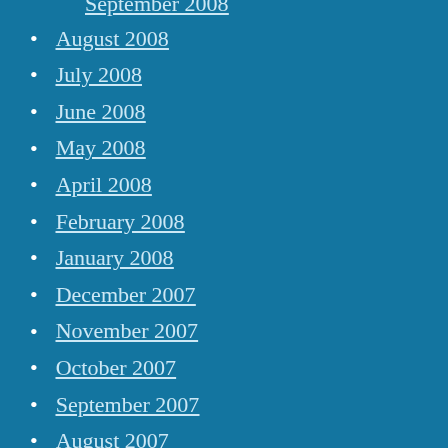September 2008
August 2008
July 2008
June 2008
May 2008
April 2008
February 2008
January 2008
December 2007
November 2007
October 2007
September 2007
August 2007
July 2007
June 2007
May 2007
April 2007